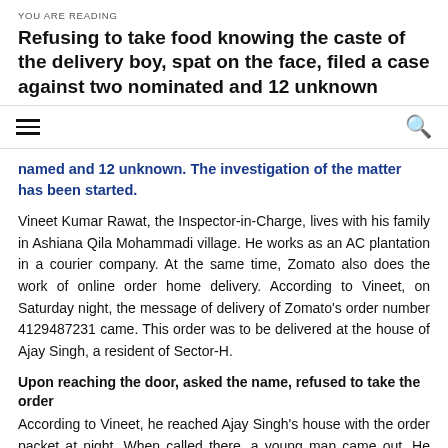YOU ARE READING
Refusing to take food knowing the caste of the delivery boy, spat on the face, filed a case against two nominated and 12 unknown
named and 12 unknown. The investigation of the matter has been started.
Vineet Kumar Rawat, the Inspector-in-Charge, lives with his family in Ashiana Qila Mohammadi village. He works as an AC plantation in a courier company. At the same time, Zomato also does the work of online order home delivery. According to Vineet, on Saturday night, the message of delivery of Zomato’s order number 4129487231 came. This order was to be delivered at the house of Ajay Singh, a resident of Sector-H.
Upon reaching the door, asked the name, refused to take the order
According to Vineet, he reached Ajay Singh’s house with the order packet at night. When called there, a young man came out. He asked the name of the delivery boy before taking the packet. On this